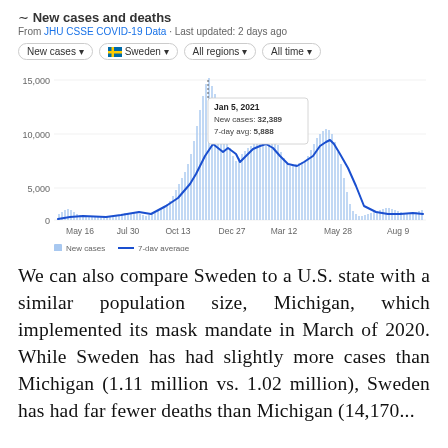[Figure (continuous-plot): Line and bar chart of Sweden COVID-19 new cases and 7-day average from May 2020 to Aug 2021. A tooltip shows Jan 5, 2021: New cases: 32,389, 7-day avg: 5,888. X-axis labels: May 16, Jul 30, Oct 13, Dec 27, Mar 12, May 28, Aug 9. Y-axis: 0, 5,000, 10,000, 15,000.]
We can also compare Sweden to a U.S. state with a similar population size, Michigan, which implemented its mask mandate in March of 2020. While Sweden has had slightly more cases than Michigan (1.11 million vs. 1.02 million), Sweden has had far fewer deaths than Michigan (14,170...